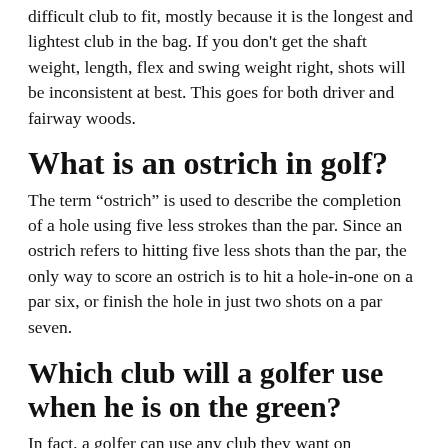difficult club to fit, mostly because it is the longest and lightest club in the bag. If you don't get the shaft weight, length, flex and swing weight right, shots will be inconsistent at best. This goes for both driver and fairway woods.
What is an ostrich in golf?
The term “ostrich” is used to describe the completion of a hole using five less strokes than the par. Since an ostrich refers to hitting five less shots than the par, the only way to score an ostrich is to hit a hole-in-one on a par six, or finish the hole in just two shots on a par seven.
Which club will a golfer use when he is on the green?
In fact, a golfer can use any club they want on